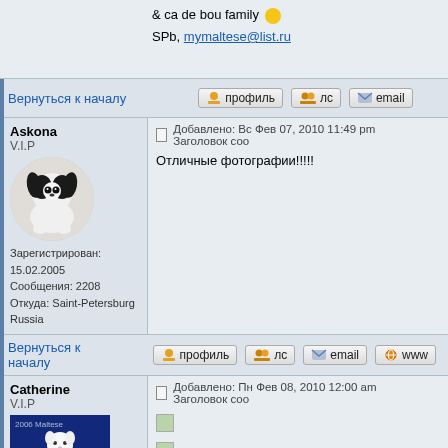& ca de bou family 🙂 SPb, mymaltese@list.ru
Вернуться к началу [профиль] [лс] [email]
Askona
V.I.P
Зарегистрирован: 15.02.2005
Сообщения: 2208
Откуда: Saint-Petersburg Russia
Добавлено: Вс Фев 07, 2010 11:49 pm   Заголовок соо
Отличные фотографии!!!!!
Вернуться к началу [профиль] [лс] [email] [www]
Catherine
V.I.P
Зарегистрирован: 29.08.2005
Сообщения: 1197
Откуда: St-Petersburg
Добавлено: Пн Фев 08, 2010 12:00 am   Заголовок соо
With best wishes,
kennel STELLA DI MALTA